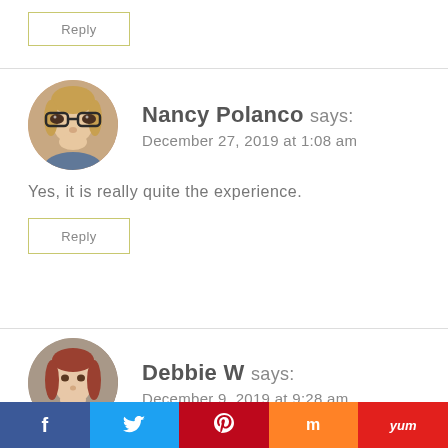Reply
Nancy Polanco says:
December 27, 2019 at 1:08 am
[Figure (photo): Circular avatar photo of Nancy Polanco, a woman with glasses and blonde hair]
Yes, it is really quite the experience.
Reply
Debbie W says:
December 9, 2019 at 9:28 am
[Figure (photo): Circular avatar photo of Debbie W, a woman with red/brown hair]
f  t  p  m  yum